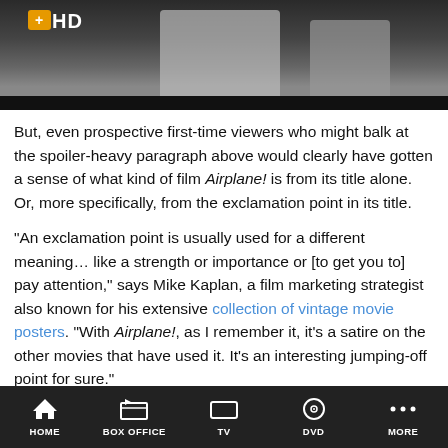[Figure (photo): Screenshot of a movie or TV scene with an HD badge visible, showing people standing. Black banner below the image.]
But, even prospective first-time viewers who might balk at the spoiler-heavy paragraph above would clearly have gotten a sense of what kind of film Airplane! is from its title alone. Or, more specifically, from the exclamation point in its title.
“An exclamation point is usually used for a different meaning... like a strength or importance or [to get you to] pay attention,” says Mike Kaplan, a film marketing strategist also known for his extensive collection of vintage movie posters. “With Airplane!, as I remember it, it’s a satire on the other movies that have used it. It’s an interesting jumping-off point for sure.”
Kaplan, who worked on posters and campaigns for films like A Clockwork Orange, says it’s not necessarily a bad thing to see punctuation used in cinematic titles or posters as long as it
HOME   BOX OFFICE   TV   DVD   MORE